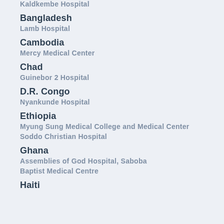Kaldkembe Hospital
Bangladesh
Lamb Hospital
Cambodia
Mercy Medical Center
Chad
Guinebor 2 Hospital
D.R. Congo
Nyankunde Hospital
Ethiopia
Myung Sung Medical College and Medical Center
Soddo Christian Hospital
Ghana
Assemblies of God Hospital, Saboba
Baptist Medical Centre
Haiti